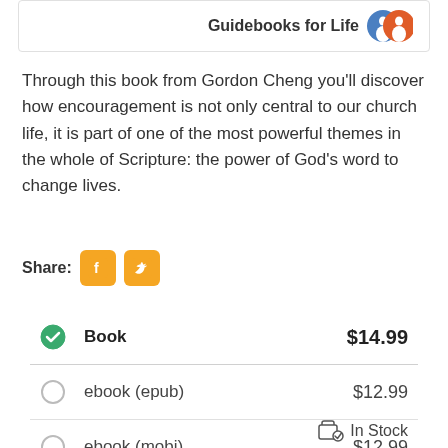[Figure (logo): Guidebooks for Life logo with two figure icons (blue and orange/red) and bold text]
Through this book from Gordon Cheng you'll discover how encouragement is not only central to our church life, it is part of one of the most powerful themes in the whole of Scripture: the power of God's word to change lives.
[Figure (infographic): Share section with Facebook and Twitter orange icon buttons]
|  | Format | Price |
| --- | --- | --- |
| ✓ selected | Book | $14.99 |
| ○ | ebook (epub) | $12.99 |
| ○ | ebook (mobi) | $12.99 |
In Stock